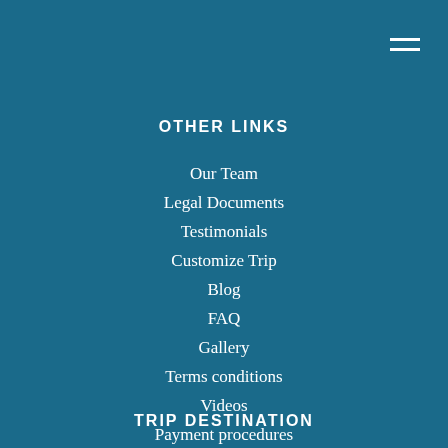OTHER LINKS
Our Team
Legal Documents
Testimonials
Customize Trip
Blog
FAQ
Gallery
Terms conditions
Videos
Payment procedures
Privacy Policies
Sitemap
TRIP DESTINATION